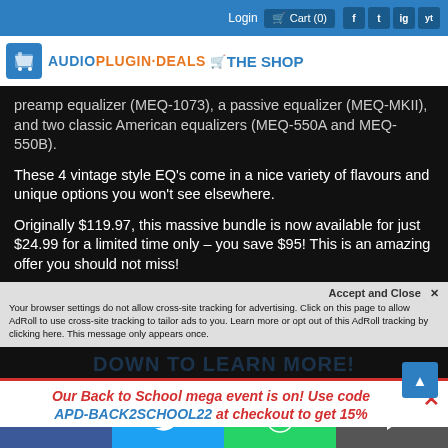Login   Cart (0)  [social icons: Facebook, Twitter, Instagram, YouTube]
[Figure (logo): AudioPlugin.Deals THE SHOP logo with shopping cart icon]
preamp equalizer (MEQ-1073), a passive equalizer (MEQ-MKII), and two classic American equalizers (MEQ-550A and MEQ-550B).
These 4 vintage style EQ's come in a nice variety of flavours and unique options you won't see elsewhere.
Originally $119.97, this massive bundle is now available for just $24.99 for a limited time only – you save $95! This is an amazing offer you should not miss!
YOU CAN ALSO BUY JUST W...
DOWN TO LEARN MORE!
Accept and Close ✕
Your browser settings do not allow cross-site tracking for advertising. Click on this page to allow AdRoll to use cross-site tracking to tailor ads to you. Learn more or opt out of this AdRoll tracking by clicking here. This message only appears once.
Our Back to School mega event is on! Use code APD-BACK2SCHOOL22 at checkout to get 15% off... [continues]
[Figure (infographic): Bottom social share bar with Facebook, Twitter, WhatsApp, and SMS buttons]